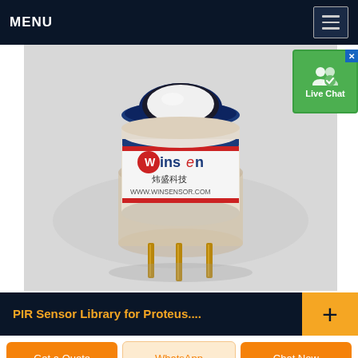MENU
[Figure (photo): Winson brand PIR/gas sensor component - cylindrical sensor module with blue and red stripe label reading 'Winson 炜盛科技 WWW.WINSENSOR.COM', transparent plastic housing with gold metal pins at bottom, white background]
[Figure (screenshot): Live Chat widget button - green background with white person/chat icon and 'Live Chat' text, blue X close button]
PIR Sensor Library for Proteus....
Get a Quote
WhatsApp
Chat Now